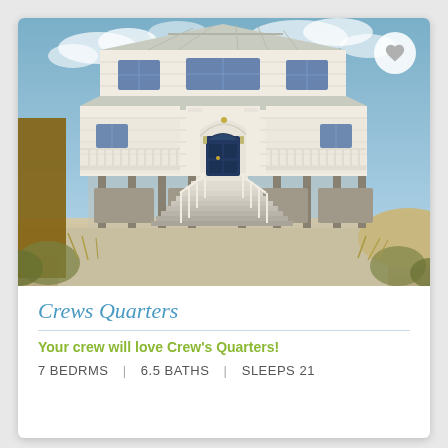[Figure (photo): Large white elevated beach house with a wide front staircase, blue front door, columned portico, and multiple balconies. The house sits on stilts with the ground level open. Blue sky with clouds in the background.]
Crews Quarters
Your crew will love Crew's Quarters!
7 BEDRMS  |  6.5 BATHS  |  SLEEPS 21